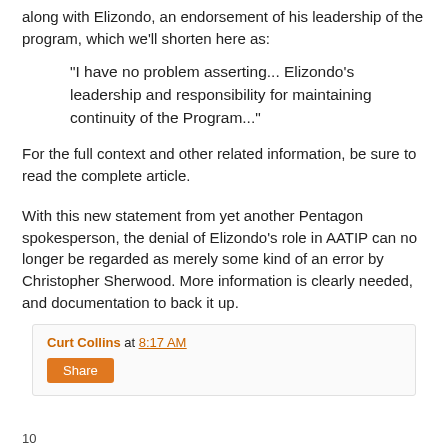along with Elizondo, an endorsement of his leadership of the program, which we'll shorten here as:
"I have no problem asserting... Elizondo's leadership and responsibility for maintaining continuity of the Program..."
For the full context and other related information, be sure to read the complete article.
With this new statement from yet another Pentagon spokesperson, the denial of Elizondo's role in AATIP can no longer be regarded as merely some kind of an error by Christopher Sherwood. More information is clearly needed, and documentation to back it up.
Curt Collins at 8:17 AM
Share
10